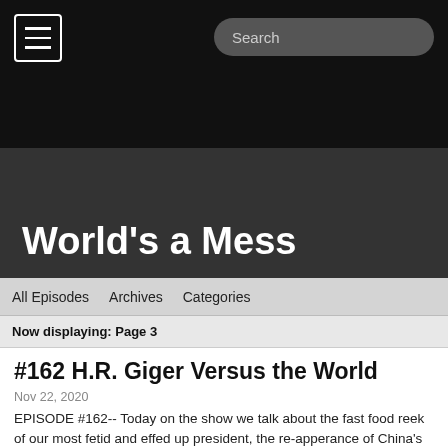World's a Mess
All Episodes   Archives   Categories
Now displaying: Page 3
#162 H.R. Giger Versus the World
Nov 22, 2020
EPISODE #162-- Today on the show we talk about the fast food reek of our most fetid and effed up president, the re-apperance of China's most precious friendo, and legendary director Hayao Miyazaki takes out the trash. Support our show at Patreon.com/quality! Follow James on twitter @kislingtwits and Alex @giraffetermath. Follow us on tumblr at https://worldsamess.tumblr.com/. Donate directly to James at Ko-fi.com/T6T16E5D. Thanks to Sef Joosten for our show art (http://spexdoodles.tumblr.com). Our theme music is "The World's a Mess" by X. End theme is "Leader of the Pack" by The Shangri-Las. Additional music by